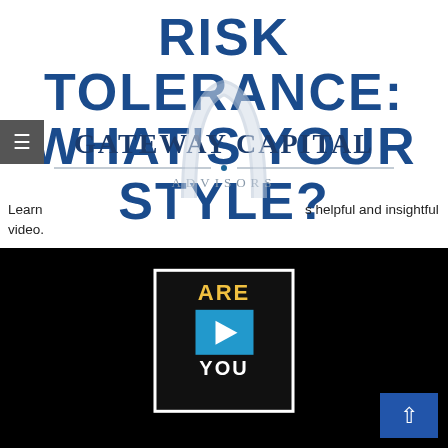RISK TOLERANCE: WHAT'S YOUR STYLE?
[Figure (logo): Gateway Capital Advisors logo with arch symbol]
Learn … s helpful and insightful video.
[Figure (screenshot): Video player thumbnail showing 'ARE YOU READY' with play button on dark background]